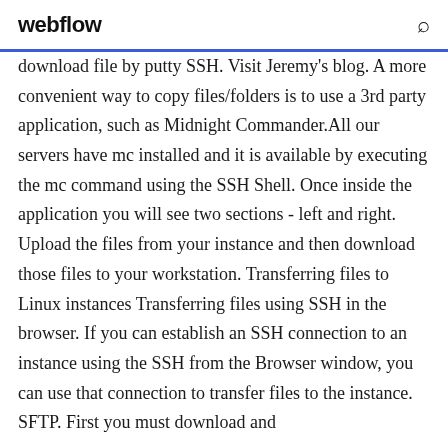webflow
download file by putty SSH. Visit Jeremy's blog. A more convenient way to copy files/folders is to use a 3rd party application, such as Midnight Commander.All our servers have mc installed and it is available by executing the mc command using the SSH Shell. Once inside the application you will see two sections - left and right. Upload the files from your instance and then download those files to your workstation. Transferring files to Linux instances Transferring files using SSH in the browser. If you can establish an SSH connection to an instance using the SSH from the Browser window, you can use that connection to transfer files to the instance. SFTP. First you must download and